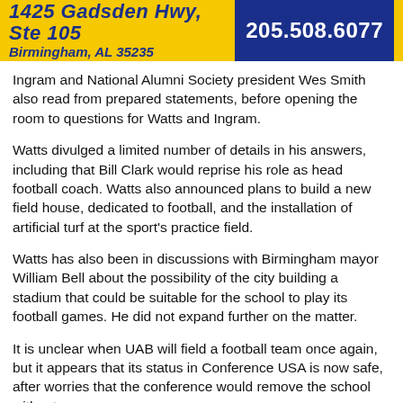[Figure (other): Advertisement banner for a business at 1425 Gadsden Hwy, Ste 105, Birmingham, AL 35235, phone 205.508.6077, with yellow and navy blue background]
Ingram and National Alumni Society president Wes Smith also read from prepared statements, before opening the room to questions for Watts and Ingram.
Watts divulged a limited number of details in his answers, including that Bill Clark would reprise his role as head football coach. Watts also announced plans to build a new field house, dedicated to football, and the installation of artificial turf at the sport's practice field.
Watts has also been in discussions with Birmingham mayor William Bell about the possibility of the city building a stadium that could be suitable for the school to play its football games. He did not expand further on the matter.
It is unclear when UAB will field a football team once again, but it appears that its status in Conference USA is now safe, after worries that the conference would remove the school without football...